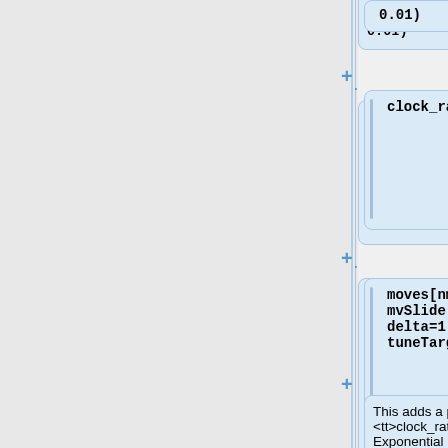0.01)
clock_rate.setValue(1.0)
moves[nmoves++] = mvSlide(clock_rate, delta=1.0, tune=true, tuneTarget=0.4, weight=1.0)
This adds a parameter <tt>clock_rate</tt> with a vague Exponential prior (rate 0.01) and starting